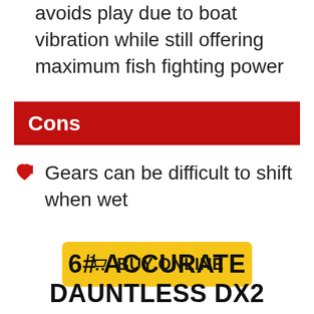avoids play due to boat vibration while still offering maximum fish fighting power
Cons
Gears can be difficult to shift when wet
BUY ONLINE
6# ACCURATE DAUNTLESS DX2